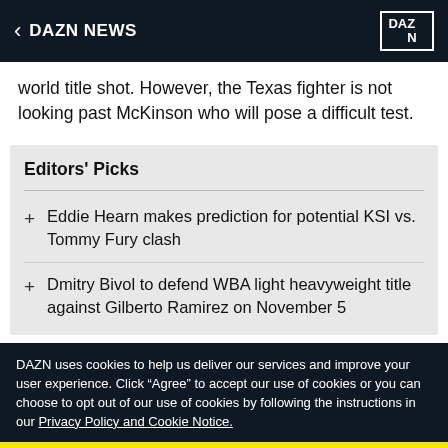DAZN NEWS
world title shot. However, the Texas fighter is not looking past McKinson who will pose a difficult test.
Editors' Picks
Eddie Hearn makes prediction for potential KSI vs. Tommy Fury clash
Dmitry Bivol to defend WBA light heavyweight title against Gilberto Ramirez on November 5
DAZN uses cookies to help us deliver our services and improve your user experience. Click "Agree" to accept our use of cookies or you can choose to opt out of our use of cookies by following the instructions in our Privacy Policy and Cookie Notice.
AGREE